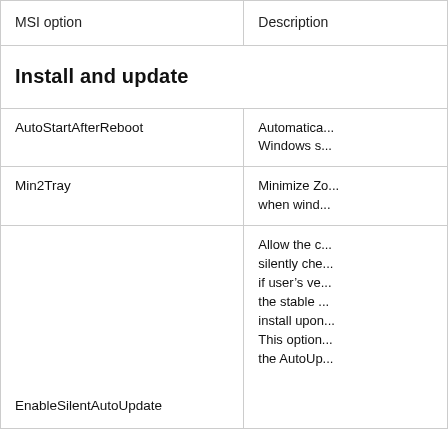| MSI option | Description |
| --- | --- |
| Install and update |  |
| AutoStartAfterReboot | Automatically starts after Windows s... |
| Min2Tray | Minimize Zo... when wind... |
| EnableSilentAutoUpdate | Allow the c... silently che... if user's ve... the stable ... install upon... This option... the AutoUp... |